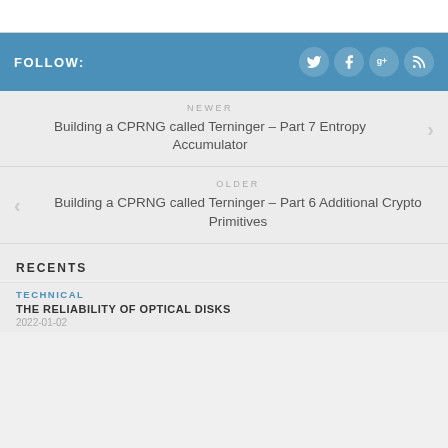FOLLOW:
NEWER
Building a CPRNG called Terninger - Part 7 Entropy Accumulator
OLDER
Building a CPRNG called Terninger - Part 6 Additional Crypto Primitives
RECENTS
TECHNICAL
THE RELIABILITY OF OPTICAL DISKS